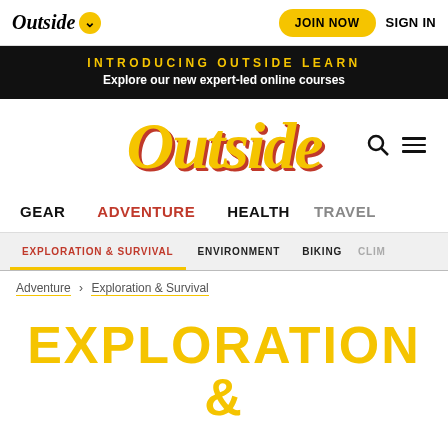Outside | JOIN NOW | SIGN IN
INTRODUCING OUTSIDE LEARN
Explore our new expert-led online courses
[Figure (logo): Outside magazine logo in large yellow italic script with red shadow]
GEAR   ADVENTURE   HEALTH   TRAVEL
EXPLORATION & SURVIVAL   ENVIRONMENT   BIKING   CLIM
Adventure > Exploration & Survival
EXPLORATION &